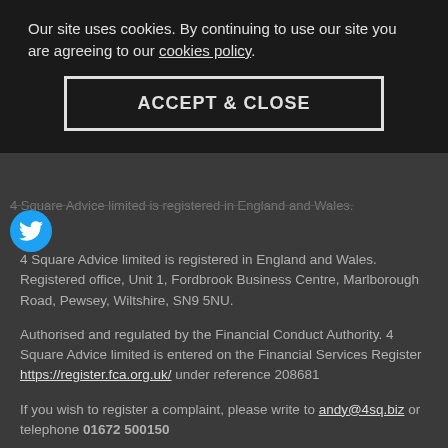andy@4sq.biz
[Figure (other): Cookie consent banner overlay with text: Our site uses cookies. By continuing to use our site you are agreeing to our cookies policy. And an ACCEPT & CLOSE button.]
[Figure (logo): Twitter bird icon in blue circle]
4 Square Advice limited is registered in England and Wales. Registered office, Unit 1, Fordbrook Business Centre, Marlborough Road, Pewsey, Wiltshire, SN9 5NU.
Authorised and regulated by the Financial Conduct Authority. 4 Square Advice limited is entered on the Financial Services Register https://register.fca.org.uk/ under reference 208681
If you wish to register a complaint, please write to andy@4sq.biz or telephone 01672 500150
A summary of our internal complaints handling procedures for the reasonable and prompt handling of complaints is available on request and if you cannot settle your complaint with us, you may be entitled to refer it to the Financial Ombudsman Service